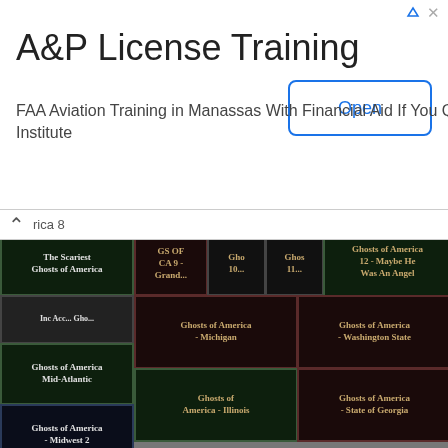[Figure (screenshot): Advertisement banner for A&P License Training. Title: A&P License Training. Body: FAA Aviation Training in Manassas With Financial Aid If You Qualify. Aviation Institute. Open button on the right.]
[Figure (screenshot): Grid of Amazon book cover thumbnails for 'Ghosts of America' series including titles: The Scariest Ghosts of America, Ghosts of America 12 - Maybe He Was An Angel, Ghosts of America - Michigan, Ghosts of America - Washington State, Ghosts of America Mid-Atlantic, Ghosts of America - Illinois, Ghosts of America - State of Georgia, Ghosts of America - Midwest 2, Ghosts of America - Indiana, Ghosts of America - Massachusetts, Ghosts of America - Rocky Mountains and Deserts, Ghosts of America Pacific Northwest, Ghosts of America Great Plains, Ghosts of America Southern Appalachia, Ghosts of America - California 2, Ghosts of America California, Ghosts of America - New England, Ghosts of America Deep South, Ghosts of America - Florida, Ghosts Of America - Ohio, Ghosts of America Dallas and Vicinity]